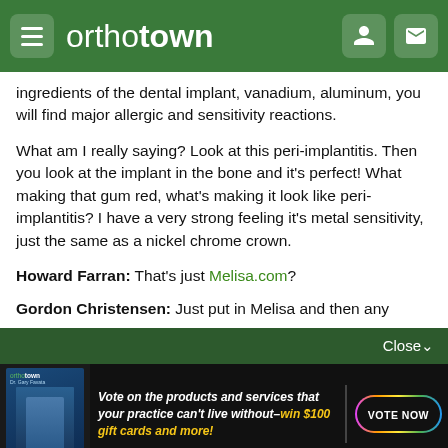orthotown
ingredients of the dental implant, vanadium, aluminum, you will find major allergic and sensitivity reactions.
What am I really saying? Look at this peri-implantitis. Then you look at the implant in the bone and it's perfect! What making that gum red, what's making it look like peri-implantitis? I have a very strong feeling it's metal sensitivity, just the same as a nickel chrome crown.
Howard Farran:  That's just Melisa.com?
Gordon Christensen:  Just put in Melisa and then any
[Figure (infographic): Advertisement banner for orthotown magazine. Text reads: Vote on the products and services that your practice can't live without—win $100 gift cards and more! with a VOTE NOW button.]